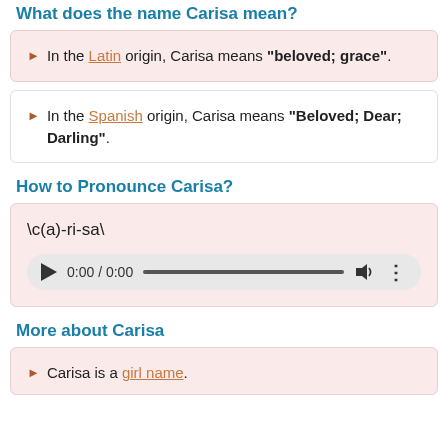What does the name Carisa mean?
In the Latin origin, Carisa means "beloved; grace".
In the Spanish origin, Carisa means "Beloved; Dear; Darling".
How to Pronounce Carisa?
\c(a)-ri-sa\
[Figure (other): Audio player widget showing 0:00 / 0:00 with play button, progress bar, volume icon, and more options icon]
More about Carisa
Carisa is a girl name.